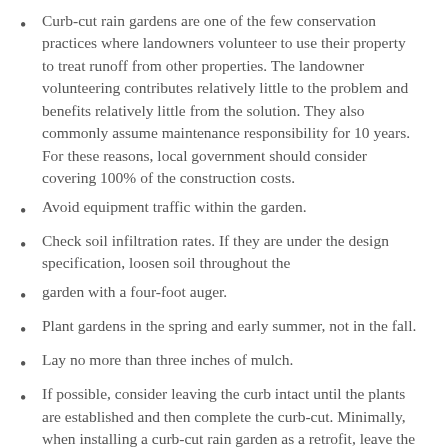Curb-cut rain gardens are one of the few conservation practices where landowners volunteer to use their property to treat runoff from other properties. The landowner volunteering contributes relatively little to the problem and benefits relatively little from the solution. They also commonly assume maintenance responsibility for 10 years. For these reasons, local government should consider covering 100% of the construction costs.
Avoid equipment traffic within the garden.
Check soil infiltration rates. If they are under the design specification, loosen soil throughout the
garden with a four-foot auger.
Plant gardens in the spring and early summer, not in the fall.
Lay no more than three inches of mulch.
If possible, consider leaving the curb intact until the plants are established and then complete the curb-cut. Minimally, when installing a curb-cut rain garden as a retrofit, leave the curb intact until the basin is completed. This ensures